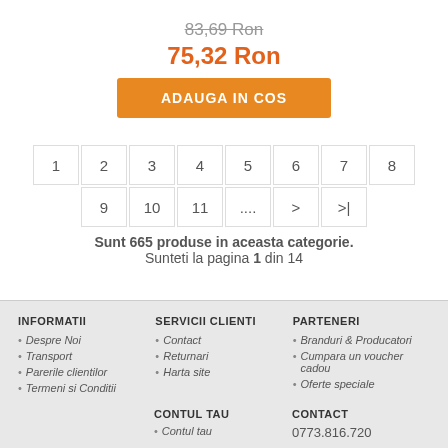83,69 Ron (strikethrough)
75,32 Ron
ADAUGA IN COS
1 2 3 4 5 6 7 8 9 10 11 .... > >|
Sunt 665 produse in aceasta categorie.
Sunteti la pagina 1 din 14
INFORMATII
Despre Noi
Transport
Parerile clientilor
Termeni si Conditii
SERVICII CLIENTI
Contact
Returnari
Harta site
PARTENERI
Branduri & Producatori
Cumpara un voucher cadou
Oferte speciale
CONTUL TAU
Contul tau
CONTACT
0773.816.720